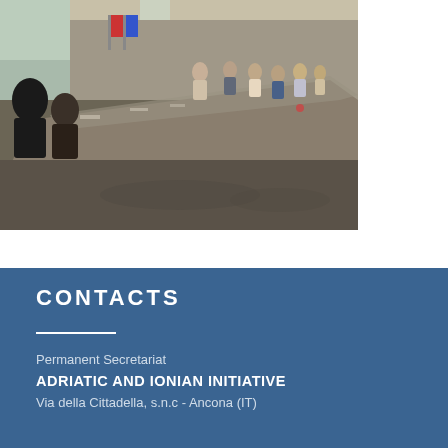[Figure (photo): Conference room photo showing a long table with many participants seated on both sides, in a formal meeting setting]
CONTACTS
Permanent Secretariat
ADRIATIC AND IONIAN INITIATIVE
Via della Cittadella, s.n.c - Ancona (IT)